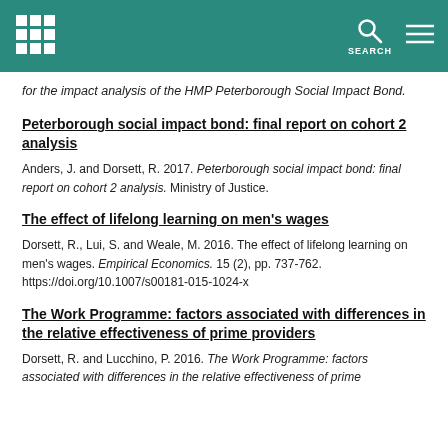SEARCH
for the impact analysis of the HMP Peterborough Social Impact Bond.
Peterborough social impact bond: final report on cohort 2 analysis
Anders, J. and Dorsett, R. 2017. Peterborough social impact bond: final report on cohort 2 analysis. Ministry of Justice.
The effect of lifelong learning on men's wages
Dorsett, R., Lui, S. and Weale, M. 2016. The effect of lifelong learning on men's wages. Empirical Economics. 15 (2), pp. 737-762. https://doi.org/10.1007/s00181-015-1024-x
The Work Programme: factors associated with differences in the relative effectiveness of prime providers
Dorsett, R. and Lucchino, P. 2016. The Work Programme: factors associated with differences in the relative effectiveness of prime